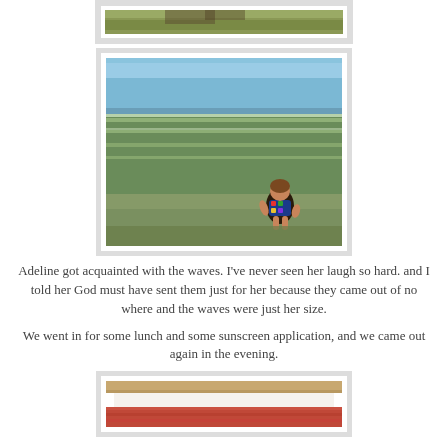[Figure (photo): Top cropped photo showing edge of beach/water scene with green-brown tones, partially visible at top of page]
[Figure (photo): Child (Adeline) in colorful swimsuit wading in shallow ocean waves, viewed from behind, blue sky and greenish water visible]
Adeline got acquainted with the waves. I've never seen her laugh so hard. and I told her God must have sent them just for her because they came out of no where and the waves were just her size.
We went in for some lunch and some sunscreen application, and we came out again in the evening.
[Figure (photo): Bottom photo partially visible, showing what appears to be a wooden frame with white and red/pink textured surface below]